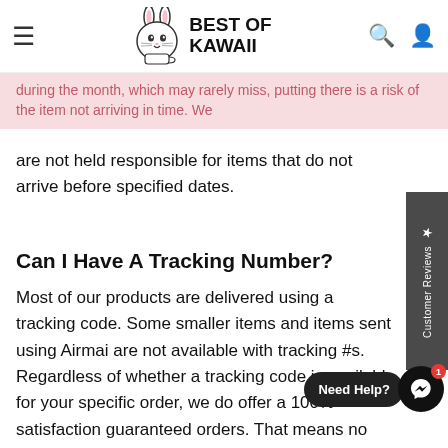Best of Kawaii — navigation bar with logo
during the month, which may rarely miss, putting there is a risk of the item not arriving in time. We are not held responsible for items that do not arrive before specified dates.
Can I Have A Tracking Number?
Most of our products are delivered using a tracking code. Some smaller items and items sent using Airmail are not available with tracking #s. Regardless of whether a tracking code is available for your specific order, we do offer a 100% satisfaction guaranteed orders. That means no risk. We have you completely covered.